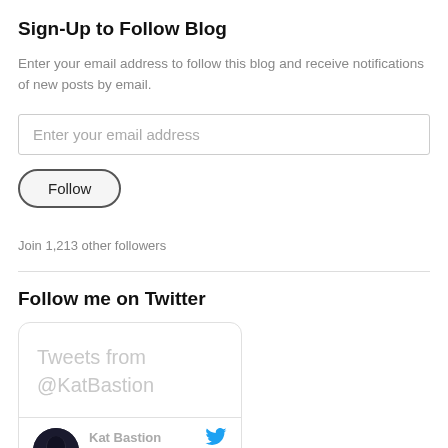Sign-Up to Follow Blog
Enter your email address to follow this blog and receive notifications of new posts by email.
Enter your email address
Follow
Join 1,213 other followers
Follow me on Twitter
[Figure (screenshot): Twitter widget showing 'Tweets from @KatBastion' header and a tweet row with avatar, name 'Kat Bastion', handle '@... · Jul 4', and Twitter bird icon]